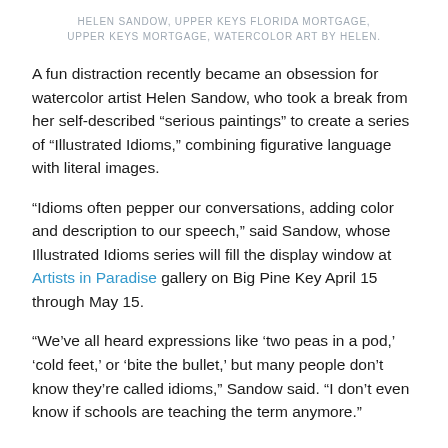HELEN SANDOW, UPPER KEYS FLORIDA MORTGAGE, UPPER KEYS MORTGAGE, WATERCOLOR ART BY HELEN.
A fun distraction recently became an obsession for watercolor artist Helen Sandow, who took a break from her self-described “serious paintings” to create a series of “Illustrated Idioms,” combining figurative language with literal images.
“Idioms often pepper our conversations, adding color and description to our speech,” said Sandow, whose Illustrated Idioms series will fill the display window at Artists in Paradise gallery on Big Pine Key April 15 through May 15.
“We’ve all heard expressions like ‘two peas in a pod,’ ‘cold feet,’ or ‘bite the bullet,’ but many people don’t know they’re called idioms,” Sandow said. “I don’t even know if schools are teaching the term anymore.”